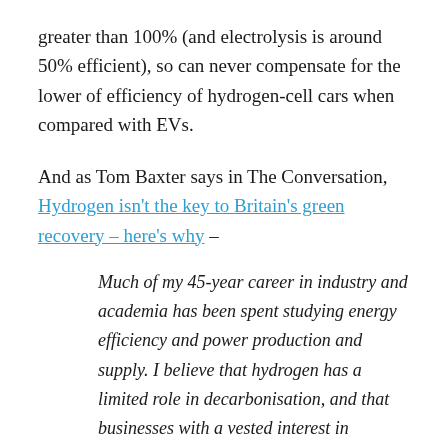greater than 100% (and electrolysis is around 50% efficient), so can never compensate for the lower of efficiency of hydrogen-cell cars when compared with EVs.
And as Tom Baxter says in The Conversation, Hydrogen isn't the key to Britain's green recovery – here's why –
Much of my 45-year career in industry and academia has been spent studying energy efficiency and power production and supply. I believe that hydrogen has a limited role in decarbonisation, and that businesses with a vested interest in promoting hydrogen are doing so at the expense of British...